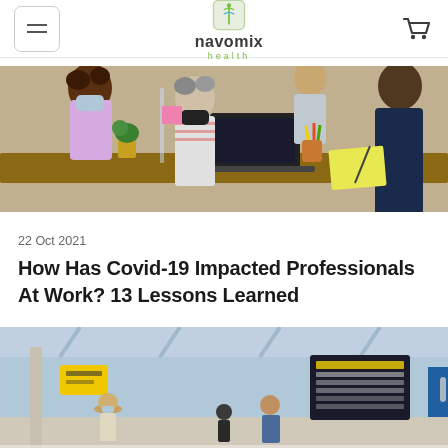Navomix health
[Figure (photo): Office scene with people wearing face masks working at a table with a laptop, acrylic dividers visible]
22 Oct 2021
How Has Covid-19 Impacted Professionals At Work? 13 Lessons Learned
[Figure (photo): Airport terminal with people wearing masks, departure boards visible in background]